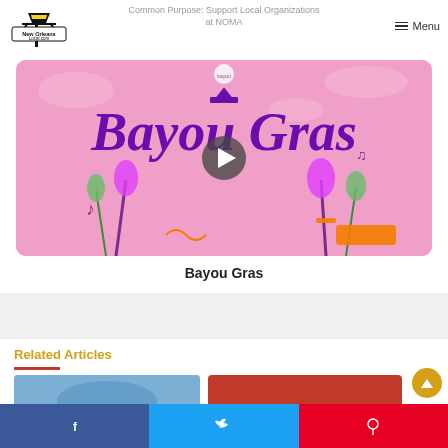Common Purpose: Support Local Organizations at NOMA
[Figure (screenshot): New Orleans Local .com logo — a streetlamp over a street-sign graphic with the text 'New Orleans Local.com']
[Figure (photo): Bayou Gras promotional graphic — pink background with purple hand-lettered 'Bayou Gras' text, illustrated bayou plants, music notes, and a play button overlay in the center]
Bayou Gras
Related Articles
[Figure (photo): Thumbnail image on the left — blue/teal toned photo]
[Figure (photo): Thumbnail image on the right — red background with white text overlay]